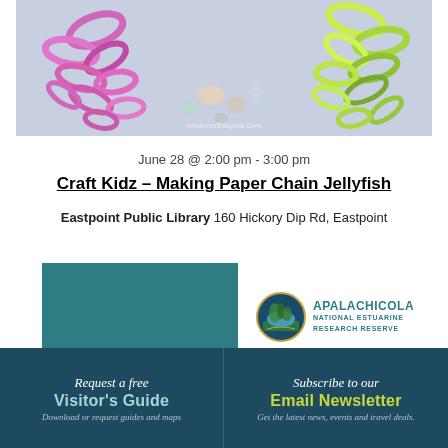[Figure (photo): Photo of colorful paper chain jellyfish crafts — pink/magenta chains on left and yellow-green chains on right, with decorative stones, on a light blue-grey background. Watermark: www.craftsbynia.com]
June 28 @ 2:00 pm - 3:00 pm
Craft Kidz – Making Paper Chain Jellyfish
Eastpoint Public Library 160 Hickory Dip Rd, Eastpoint
[Figure (logo): Teal/dark green square block on the left, and on the right the Florida Department logo circle with the Apalachicola National Estuarine Research Reserve text]
Request a free
Visitor's Guide
Download or request guides and maps
Subscribe to our
Email Newsletter
Get the latest news, events and travel deals.